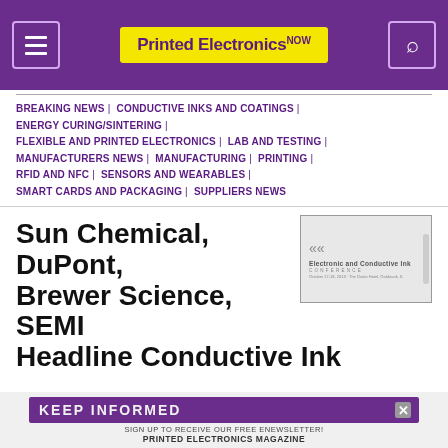Printed Electronics NOW
BREAKING NEWS | CONDUCTIVE INKS AND COATINGS | ENERGY CURING/SINTERING | FLEXIBLE AND PRINTED ELECTRONICS | LAB AND TESTING | MANUFACTURERS NEWS | MANUFACTURING | PRINTING | RFID AND NFC | SENSORS AND WEARABLES | SMART CARDS AND PACKAGING | SUPPLIERS NEWS
[Figure (other): Electronic and Conductive Ink conference advertisement thumbnail with arrows and event details]
Sun Chemical, DuPont, Brewer Science, SEMI Headline Conductive Ink
KEEP INFORMED
SIGN UP TO RECEIVE OUR FREE ENEWSLETTER!
PRINTED ELECTRONICS MAGAZINE